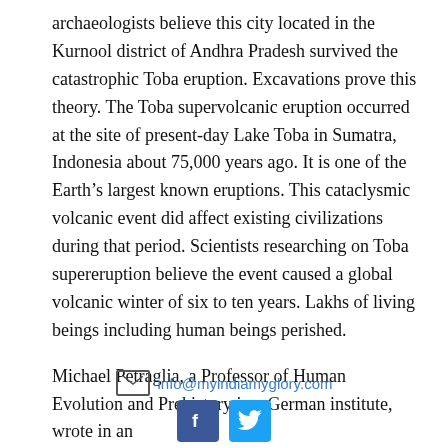archaeologists believe this city located in the Kurnool district of Andhra Pradesh survived the catastrophic Toba eruption. Excavations prove this theory. The Toba supervolcanic eruption occurred at the site of present-day Lake Toba in Sumatra, Indonesia about 75,000 years ago. It is one of the Earth's largest known eruptions. This cataclysmic volcanic event did affect existing civilizations during that period. Scientists researching on Toba supereruption believe the event caused a global volcanic winter of six to ten years. Lakhs of living beings including human beings perished.
Michael Petraglia, a Professor of Human Evolution and Prehistory in a German institute, wrote in an
info@myindiamyglory.com